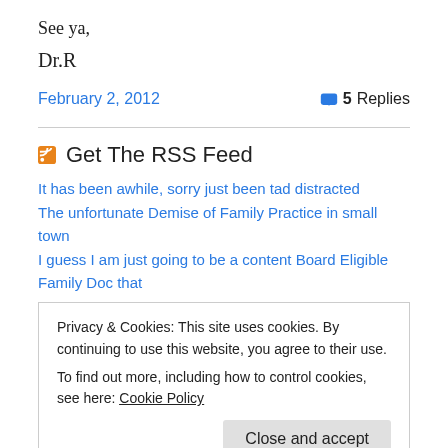See ya,
Dr.R
February 2, 2012
5 Replies
Get The RSS Feed
It has been awhile, sorry just been tad distracted
The unfortunate Demise of Family Practice in small town
I guess I am just going to be a content Board Eligible Family Doc that
Privacy & Cookies: This site uses cookies. By continuing to use this website, you agree to their use.
To find out more, including how to control cookies, see here: Cookie Policy
SPECIALDOCS: Physicians at the Front Lines Increasingly Suffer from